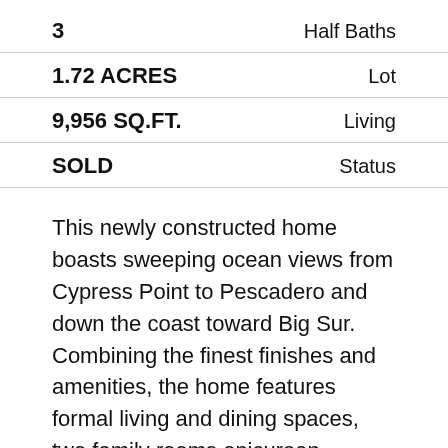| Value | Label |
| --- | --- |
| 3 | Half Baths |
| 1.72 ACRES | Lot |
| 9,956 SQ.FT. | Living |
| SOLD | Status |
This newly constructed home boasts sweeping ocean views from Cypress Point to Pescadero and down the coast toward Big Sur. Combining the finest finishes and amenities, the home features formal living and dining spaces, two family rooms, epicurean kitchen, media room, library/den, elevator, wine room, four bedrooms, four full and three half baths, terraces and balconies for outdoor